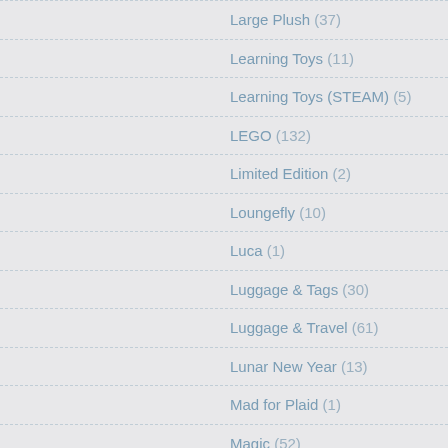Large Plush (37)
Learning Toys (11)
Learning Toys (STEAM) (5)
LEGO (132)
Limited Edition (2)
Loungefly (10)
Luca (1)
Luggage & Tags (30)
Luggage & Travel (61)
Lunar New Year (13)
Mad for Plaid (1)
Magic (52)
MagicBand (139)
Mal (2)
Maleficent (1)